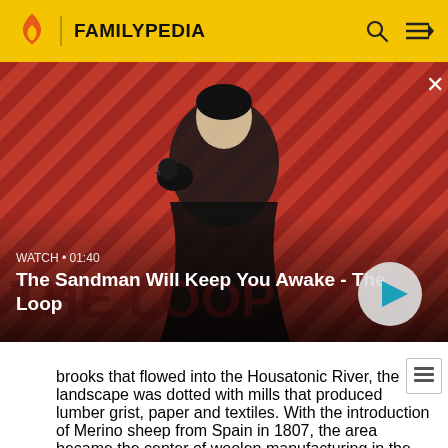FAMILYPEDIA
[Figure (screenshot): A dark-themed promotional image with red and black diagonal stripes background. A pale man in a dark coat with a black bird on his shoulder stands center. Text overlay reads: WATCH • 01:40 / The Sandman Will Keep You Awake - The Loop. A circular play button is on the right.]
brooks that flowed into the Housatonic River, the landscape was dotted with mills that produced lumber grist, paper and textiles. With the introduction of Merino sheep from Spain in 1807, the area became the center of woolen manufacturing in the United States, an industry